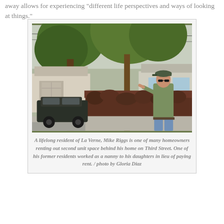away allows for experiencing "different life perspectives and ways of looking at things."
[Figure (photo): A man in a green jacket and baseball cap stands on a street sidewalk next to a large hedge, pointing. Background shows houses, trees, and a parked car.]
A lifelong resident of La Verne, Mike Riggs is one of many homeowners renting out second unit space behind his home on Third Street. One of his former residents worked as a nanny to his daughters in lieu of paying rent. / photo by Gloria Diaz